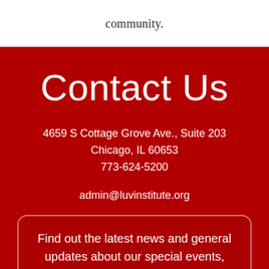community.
Contact Us
4659 S Cottage Grove Ave., Suite 203
Chicago, IL 60653
773-624-5200
admin@luvinstitute.org
Find out the latest news and general updates about our special events, donation drives,